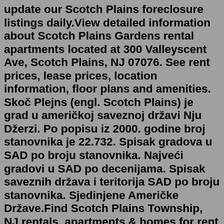update our Scotch Plains foreclosure listings daily.View detailed information about Scotch Plains Gardens rental apartments located at 300 Valleyscent Ave, Scotch Plains, NJ 07076. See rent prices, lease prices, location information, floor plans and amenities. Skoč Plejns (engl. Scotch Plains) je grad u američkoj saveznoj državi Nju Džerzi. Po popisu iz 2000. godine broj stanovnika je 22.732. Spisak gradova u SAD po broju stanovnika. Najveći gradovi u SAD po decenijama. Spisak saveznih država i teritorija SAD po broju stanovnika. Sjedinjene Američke Države.Find Scotch Plains Township, NJ rentals, apartments & homes for rent with Coldwell Banker Realty. ... Coldwell Banker Realty can help you find Scotch Plains Township apartments and rentals. Refine your Scotch Plains Township rental search results by price, property type, bedrooms, baths and other features. ... Information deemed reliable but ...SCOTCH PLAINS , NJ - Developers of the proposed Parker Gardens development presented their site plan to the Scotch Plains Planning Board